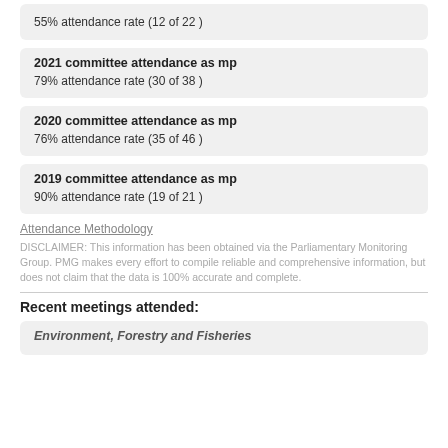55% attendance rate (12 of 22 )
2021 committee attendance as mp
79% attendance rate (30 of 38 )
2020 committee attendance as mp
76% attendance rate (35 of 46 )
2019 committee attendance as mp
90% attendance rate (19 of 21 )
Attendance Methodology
DISCLAIMER: This information has been obtained via the Parliamentary Monitoring Group. PMG makes every effort to compile reliable and comprehensive information, but does not claim that the data is 100% accurate and complete.
Recent meetings attended:
Environment, Forestry and Fisheries